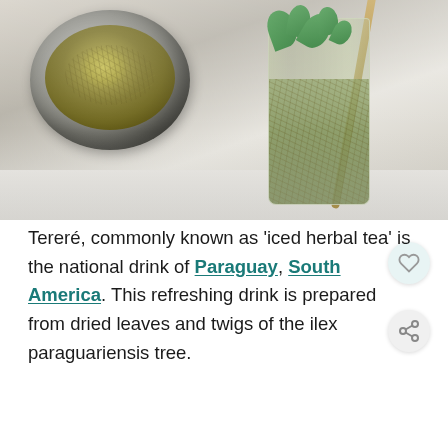[Figure (photo): A silver bowl filled with dried yerba mate herb leaves, and a glass jar filled with iced herbal tea (tereré) with fresh mint leaves and a metal straw, on a white surface.]
Tereré, commonly known as 'iced herbal tea' is the national drink of Paraguay, South America. This refreshing drink is prepared from dried leaves and twigs of the ilex paraguariensis tree.